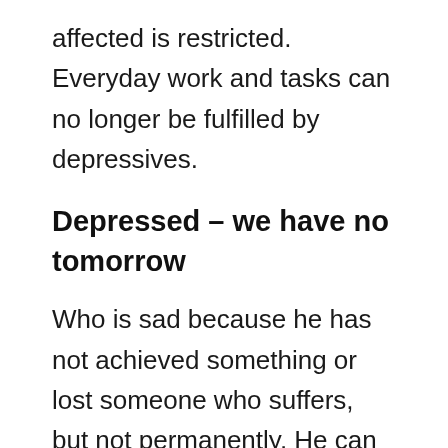affected is restricted. Everyday work and tasks can no longer be fulfilled by depressives.
Depressed – we have no tomorrow
Who is sad because he has not achieved something or lost someone who suffers, but not permanently. He can also laugh and